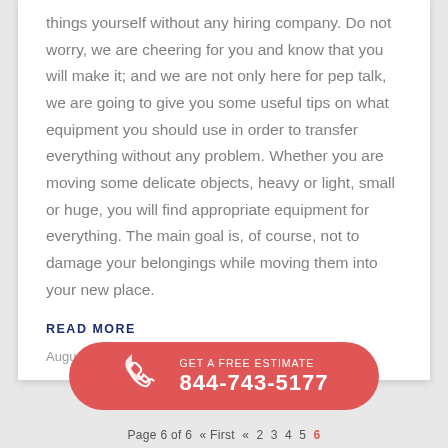things yourself without any hiring company. Do not worry, we are cheering for you and know that you will make it; and we are not only here for pep talk, we are going to give you some useful tips on what equipment you should use in order to transfer everything without any problem. Whether you are moving some delicate objects, heavy or light, small or huge, you will find appropriate equipment for everything. The main goal is, of course, not to damage your belongings while moving them into your new place.
READ MORE
August 30, 2017
[Figure (infographic): Red rounded pill-shaped CTA button with phone icon and text 'GET A FREE ESTIMATE' and '844-743-5177']
Page 6 of 6  « First  «  2  3  4  5  6